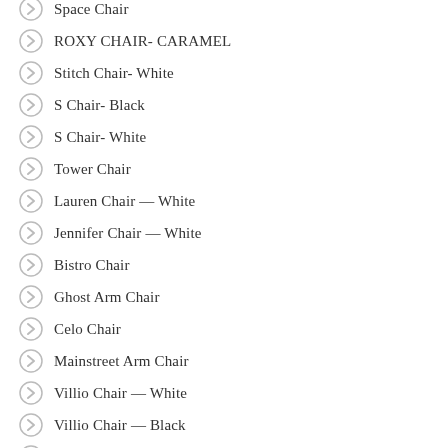Space Chair
ROXY CHAIR- CARAMEL
Stitch Chair- White
S Chair- Black
S Chair- White
Tower Chair
Lauren Chair — White
Jennifer Chair — White
Bistro Chair
Ghost Arm Chair
Celo Chair
Mainstreet Arm Chair
Villio Chair — White
Villio Chair — Black
Villio Chair — Creme
Moon Chair